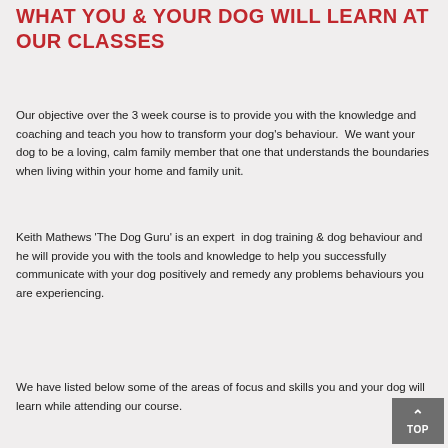WHAT YOU & YOUR DOG WILL LEARN AT OUR CLASSES
Our objective over the 3 week course is to provide you with the knowledge and coaching and teach you how to transform your dog's behaviour.  We want your dog to be a loving, calm family member that one that understands the boundaries when living within your home and family unit.
Keith Mathews 'The Dog Guru' is an expert  in dog training & dog behaviour and he will provide you with the tools and knowledge to help you successfully communicate with your dog positively and remedy any problems behaviours you are experiencing.
We have listed below some of the areas of focus and skills you and your dog will learn while attending our course.